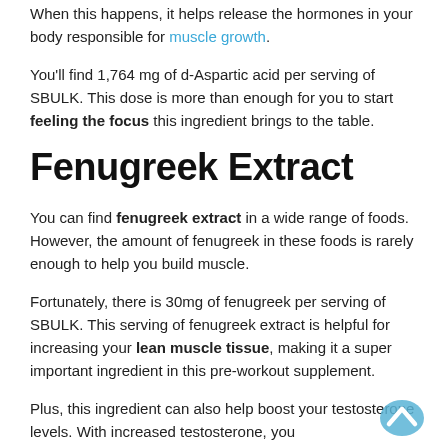When this happens, it helps release the hormones in your body responsible for muscle growth.
You'll find 1,764 mg of d-Aspartic acid per serving of SBULK. This dose is more than enough for you to start feeling the focus this ingredient brings to the table.
Fenugreek Extract
You can find fenugreek extract in a wide range of foods. However, the amount of fenugreek in these foods is rarely enough to help you build muscle.
Fortunately, there is 30mg of fenugreek per serving of SBULK. This serving of fenugreek extract is helpful for increasing your lean muscle tissue, making it a super important ingredient in this pre-workout supplement.
Plus, this ingredient can also help boost your testosterone levels. With increased testosterone, you